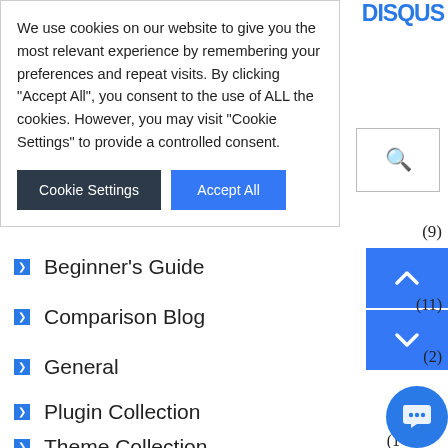[Figure (screenshot): Cookie consent banner overlay with text and two buttons: 'Cookie Settings' (dark) and 'Accept All' (blue)]
We use cookies on our website to give you the most relevant experience by remembering your preferences and repeat visits. By clicking “Accept All”, you consent to the use of ALL the cookies. However, you may visit "Cookie Settings" to provide a controlled consent.
Beginner’s Guide
Comparison Blog
General
Plugin Collection
Theme Collection